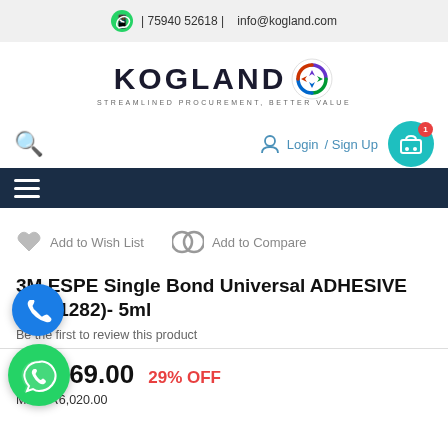| 75940 52618 |    info@kogland.com
[Figure (logo): Kogland logo with circular icon and tagline STREAMLINED PROCUREMENT, BETTER VALUE]
Login / Sign Up
Add to Wish List    Add to Compare
3M ESPE Single Bond Universal ADHESIVE RF(41282)- 5ml
Be the first to review this product
₹4,269.00  29% OFF
MRP: ₹6,020.00